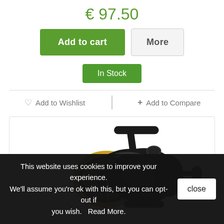€ 97.50
Add to cart | More
In Stock
♡ Add to Wishlist  + Add to Compare
[Figure (photo): Fishing spinning reel (Marshal 300) with black body and gold-rimmed spool loaded with green braided line, shown against white background.]
This website uses cookies to improve your experience. We'll assume you're ok with this, but you can opt-out if you wish.  Read More.  [close]